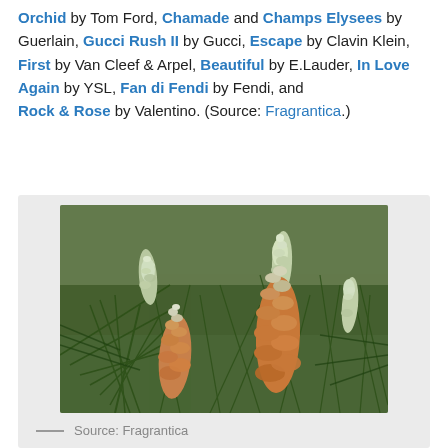Orchid by Tom Ford, Chamade and Champs Elysees by Guerlain, Gucci Rush II by Gucci, Escape by Clavin Klein, First by Van Cleef & Arpel, Beautiful by E.Lauder, In Love Again by YSL, Fan di Fendi by Fendi, and
Rock & Rose by Valentino. (Source: Fragrantica.)
[Figure (photo): Close-up photo of pine tree branches with orange and white pollen cones (strobili) against a blurred green background.]
— Source: Fragrantica